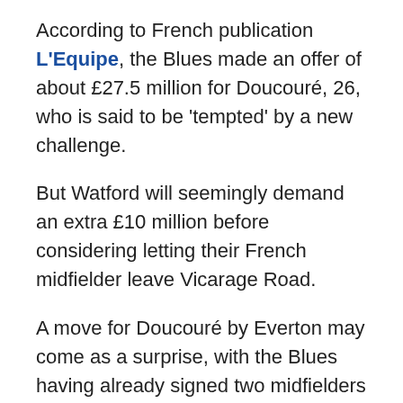According to French publication L'Equipe, the Blues made an offer of about £27.5 million for Doucouré, 26, who is said to be 'tempted' by a new challenge.
But Watford will seemingly demand an extra £10 million before considering letting their French midfielder leave Vicarage Road.
A move for Doucouré by Everton may come as a surprise, with the Blues having already signed two midfielders this summer in Mainz 05's Jean-Philippe Gbamin and Manchester City's Fabian Delph.
Though with Muhamed Bešić and James McCarthy on the periphery and Morgan Schneiderlin repeatedly linked with a loan departure to Fenerbahce, Blues boss Marco Silva could perhaps be forgiven for still looking for further reinforcements in this area.